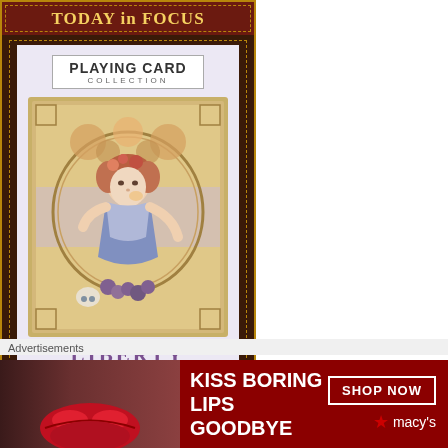[Figure (illustration): Advertisement banner: 'TODAY in FOCUS' header with Playing Card Collection - Liberty artwork showing an Art Nouveau style woman, with a dark brown leather-look border and gold stitching, plus a READ button at bottom]
Blog's Categories
[Figure (screenshot): Dropdown select box partially visible labeled 'Select Cate...']
Advertisements
[Figure (illustration): Advertisement banner: KISS BORING LIPS GOODBYE with image of woman's lips and SHOP NOW button with Macys star logo on dark red background]